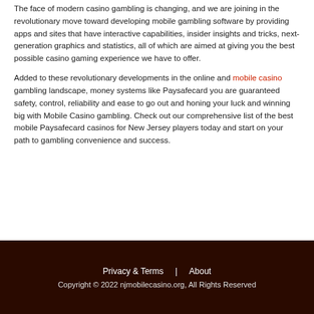The face of modern casino gambling is changing, and we are joining in the revolutionary move toward developing mobile gambling software by providing apps and sites that have interactive capabilities, insider insights and tricks, next-generation graphics and statistics, all of which are aimed at giving you the best possible casino gaming experience we have to offer.
Added to these revolutionary developments in the online and mobile casino gambling landscape, money systems like Paysafecard you are guaranteed safety, control, reliability and ease to go out and honing your luck and winning big with Mobile Casino gambling. Check out our comprehensive list of the best mobile Paysafecard casinos for New Jersey players today and start on your path to gambling convenience and success.
Privacy & Terms  |  About
Copyright © 2022 njmobilecasino.org, All Rights Reserved